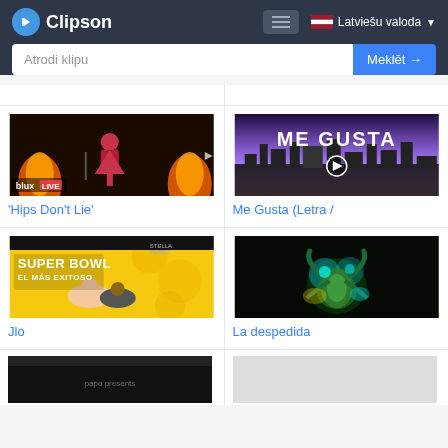Clipson — Latviešu valoda
Atrodi klipu
Meklēt →
[Figure (screenshot): Video thumbnail for 'Hips Don't Lie' showing a performer on stage with fire effects and blux LIVE watermark]
'Hips Don't Lie'
[Figure (screenshot): Video thumbnail for Me Gusta (Letra /) showing text ME GUSTA over a city skyline at dusk]
Me Gusta (Letra /
[Figure (screenshot): Video thumbnail for Jlo showing Super Bowl El Más Exitoso title card with performers]
Jlo
[Figure (screenshot): Video thumbnail for La despedida showing colorful glowing creature on dark background]
La despedida
[Figure (screenshot): Partial video thumbnail at bottom left, dark with papo presents watermark]
[Figure (screenshot): Partial video thumbnail at bottom right, light gray]